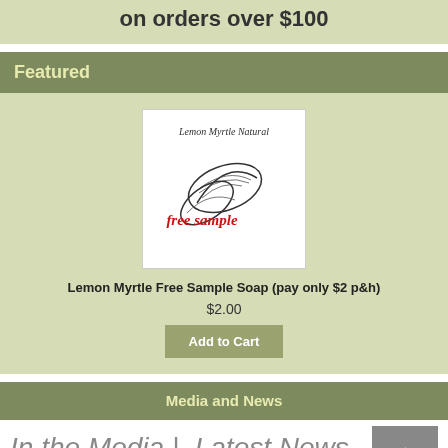on orders over $100
Featured
[Figure (illustration): Lemon Myrtle Natural free sample soap product image with leaf illustration and red cursive 'free sample' text]
Lemon Myrtle Free Sample Soap (pay only $2 p&h)
$2.00
Add to Cart
Media and News
In the Media |  Latest News ...